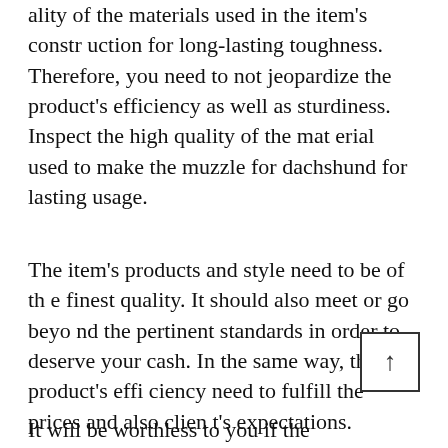ality of the materials used in the item's construction for long-lasting toughness. Therefore, you need to not jeopardize the product's efficiency as well as sturdiness. Inspect the high quality of the material used to make the muzzle for dachshund for lasting usage.
The item's products and style need to be of the finest quality. It should also meet or go beyond the pertinent standards in order to deserve your cash. In the same way, the product's efficiency need to fulfill the prices and also client's expectations.
It will be worthless to you if the performance does not represent the item's cost. You can add